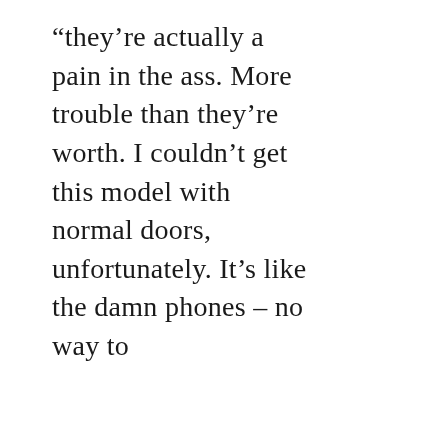“they’re actually a pain in the ass. More trouble than they’re worth. I couldn’t get this model with normal doors, unfortunately. It’s like the damn phones – no way to